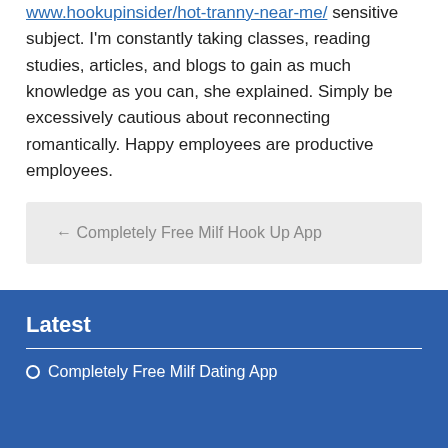www.hookupinsider/hot-tranny-near-me/ sensitive subject. I'm constantly taking classes, reading studies, articles, and blogs to gain as much knowledge as you can, she explained. Simply be excessively cautious about reconnecting romantically. Happy employees are productive employees.
← Completely Free Milf Hook Up App
Latest
Completely Free Milf Dating App